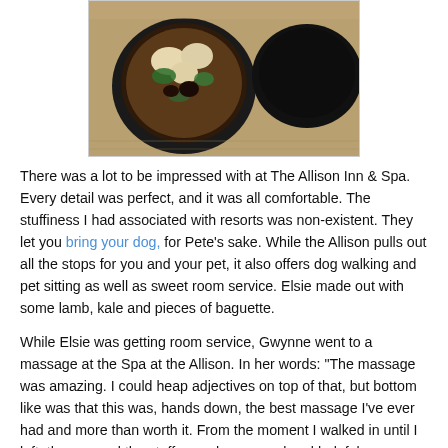[Figure (photo): Photo of two bowls of food (appears to be soup/stew with vegetables and dumplings) on a table, viewed from above.]
There was a lot to be impressed with at The Allison Inn & Spa. Every detail was perfect, and it was all comfortable. The stuffiness I had associated with resorts was non-existent. They let you bring your dog, for Pete's sake. While the Allison pulls out all the stops for you and your pet, it also offers dog walking and pet sitting as well as sweet room service. Elsie made out with some lamb, kale and pieces of baguette.
While Elsie was getting room service, Gwynne went to a massage at the Spa at the Allison. In her words: "The massage was amazing. I could heap adjectives on top of that, but bottom like was that this was, hands down, the best massage I've ever had and more than worth it. From the moment I walked in until I left, the spa and the staff was phenomenal and helpful – even volunteering to keep an eye